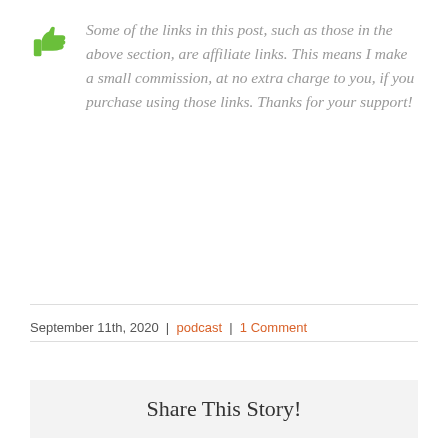[Figure (illustration): Green thumbs-up icon]
Some of the links in this post, such as those in the above section, are affiliate links. This means I make a small commission, at no extra charge to you, if you purchase using those links. Thanks for your support!
September 11th, 2020 | podcast | 1 Comment
Share This Story!